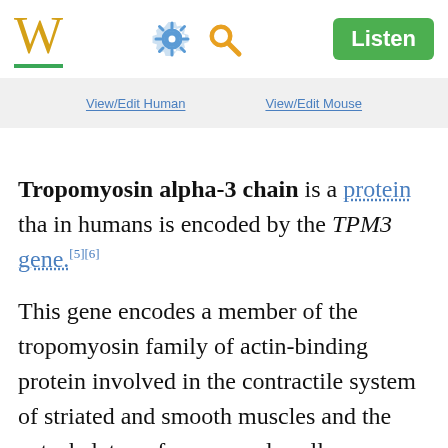W | Settings | Search | Listen
View/Edit Human   View/Edit Mouse
Tropomyosin alpha-3 chain is a protein that in humans is encoded by the TPM3 gene.[5][6]
This gene encodes a member of the tropomyosin family of actin-binding proteins involved in the contractile system of striated and smooth muscles and the cytoskeleton of non-muscle cells. Tropomyosins are dimers coiled-coil proteins that polymerize end to